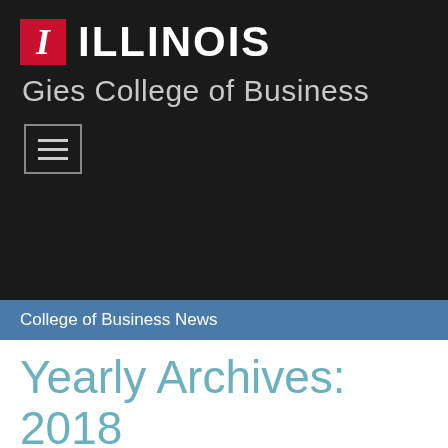[Figure (logo): University of Illinois block I logo in red with white letter I]
ILLINOIS
Gies College of Business
[Figure (other): Hamburger menu button icon with three horizontal lines in a bordered box]
College of Business News
Yearly Archives: 2018
Leighton Lecture speaker Lindsey connects her soul with her role